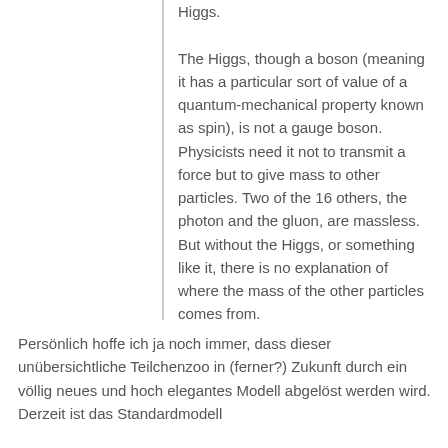Higgs.

The Higgs, though a boson (meaning it has a particular sort of value of a quantum-mechanical property known as spin), is not a gauge boson. Physicists need it not to transmit a force but to give mass to other particles. Two of the 16 others, the photon and the gluon, are massless. But without the Higgs, or something like it, there is no explanation of where the mass of the other particles comes from.
Persönlich hoffe ich ja noch immer, dass dieser unübersichtliche Teilchenzoo in (ferner?) Zukunft durch ein völlig neues und hoch elegantes Modell abgelöst werden wird. Derzeit ist das Standardmodell